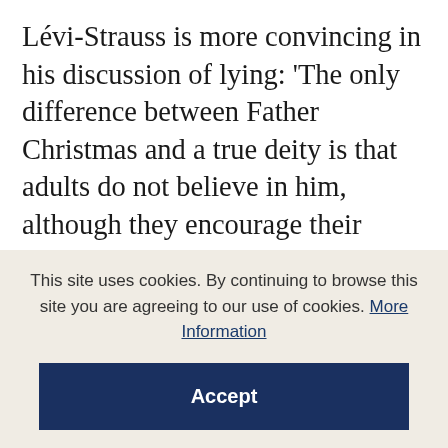Lévi-Strauss is more convincing in his discussion of lying: 'The only difference between Father Christmas and a true deity is that adults do not believe in him, although they encourage their children to do so and maintain this belief with a great number of tricks.' Thus Father Christmas marks the difference between little children who can be fooled and adults who cannot. The secret of his non-existence is the secret of the initiation rite. This lie, however, is the key to the relationship between our children and the dead:
This site uses cookies. By continuing to browse this site you are agreeing to our use of cookies. More Information
Accept